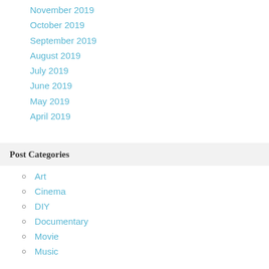November 2019
October 2019
September 2019
August 2019
July 2019
June 2019
May 2019
April 2019
Post Categories
Art
Cinema
DIY
Documentary
Movie
Music